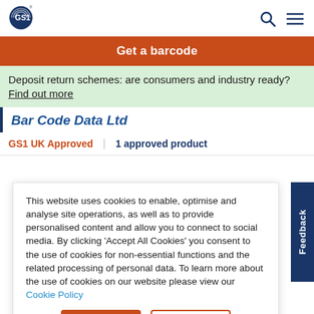GS1 UK — Get a barcode
Get a barcode
Deposit return schemes: are consumers and industry ready? Find out more
Bar Code Data Ltd
GS1 UK Approved | 1 approved product
This website uses cookies to enable, optimise and analyse site operations, as well as to provide personalised content and allow you to connect to social media. By clicking 'Accept All Cookies' you consent to the use of cookies for non-essential functions and the related processing of personal data. To learn more about the use of cookies on our website please view our Cookie Policy
Accept
Decline